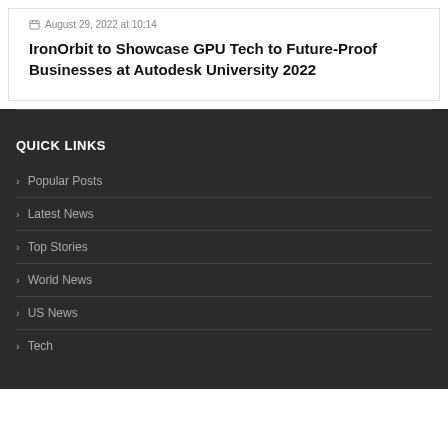August 29, 2022 at 10:14
IronOrbit to Showcase GPU Tech to Future-Proof Businesses at Autodesk University 2022
QUICK LINKS
Popular Posts
Latest News
Top Stories
World News
US News
Tech